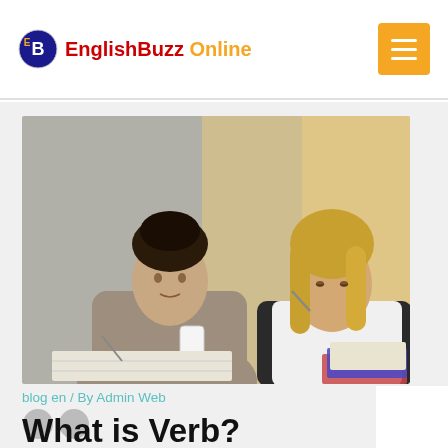EnglishBuzz Online
[Figure (photo): Two young women sitting at a table studying together, one with dark hair writing and holding a coffee cup, the other with blonde hair holding a pen, books open in front of them]
blog en / By Admin Web
What is Verb?